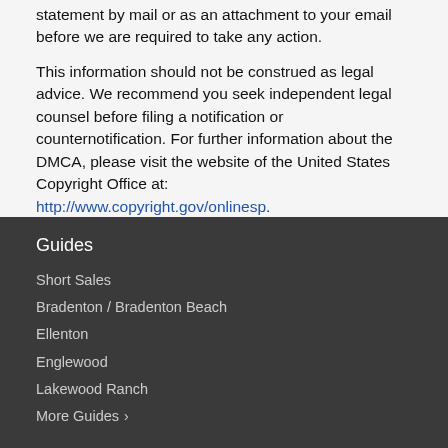statement by mail or as an attachment to your email before we are required to take any action.
This information should not be construed as legal advice. We recommend you seek independent legal counsel before filing a notification or counternotification. For further information about the DMCA, please visit the website of the United States Copyright Office at: http://www.copyright.gov/onlinesp.
Guides
Short Sales
Bradenton / Bradenton Beach
Ellenton
Englewood
Lakewood Ranch
More Guides ›